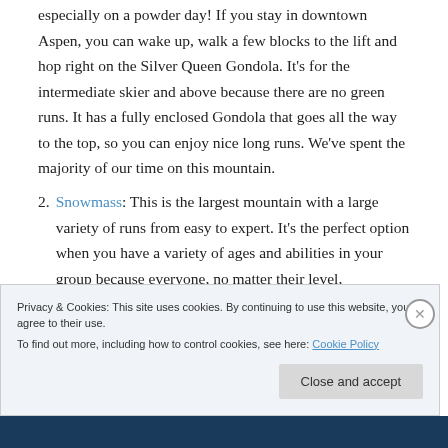especially on a powder day! If you stay in downtown Aspen, you can wake up, walk a few blocks to the lift and hop right on the Silver Queen Gondola. It's for the intermediate skier and above because there are no green runs. It has a fully enclosed Gondola that goes all the way to the top, so you can enjoy nice long runs. We've spent the majority of our time on this mountain.
2. Snowmass: This is the largest mountain with a large variety of runs from easy to expert. It's the perfect option when you have a variety of ages and abilities in your group because everyone, no matter their level,
Privacy & Cookies: This site uses cookies. By continuing to use this website, you agree to their use.
To find out more, including how to control cookies, see here: Cookie Policy